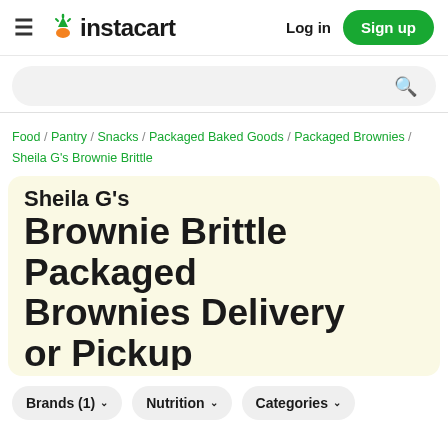≡ instacart  Log in  Sign up
[Figure (screenshot): Search bar with magnifying glass icon on light gray rounded background]
Food / Pantry / Snacks / Packaged Baked Goods / Packaged Brownies / Sheila G's Brownie Brittle
Sheila G's Brownie Brittle Packaged Brownies Delivery or Pickup
Brands (1)
Nutrition
Categories